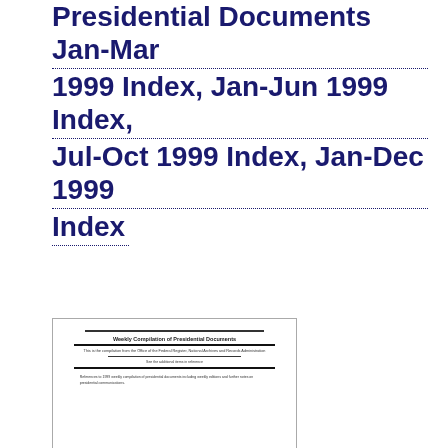Presidential Documents Jan-Mar 1999 Index, Jan-Jun 1999 Index, Jul-Oct 1999 Index, Jan-Dec 1999 Index
[Figure (illustration): Thumbnail image of a document page showing text and horizontal lines, resembling a government document]
Weekly Compilation of Presidential Documents (November 1, 1999 to December 27, 1999) [7]